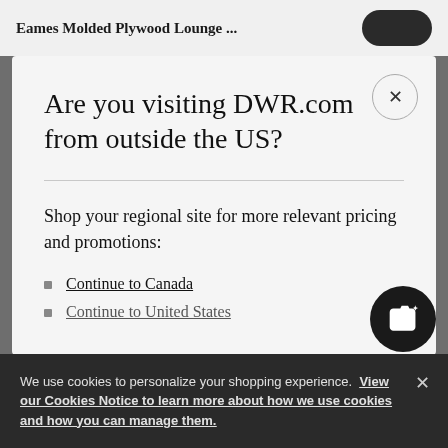Eames Molded Plywood Lounge ...
Are you visiting DWR.com from outside the US?
Shop your regional site for more relevant pricing and promotions:
Continue to Canada
Continue to United States
We use cookies to personalize your shopping experience. View our Cookies Notice to learn more about how we use cookies and how you can manage them.